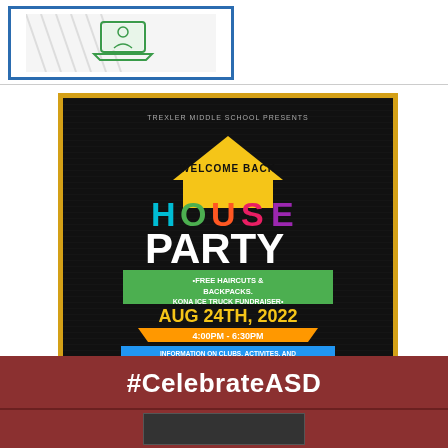[Figure (logo): School or district logo icon showing a person at a laptop/computer screen, inside a blue-bordered rectangle]
[Figure (infographic): Event flyer for Trexler Middle School Welcome Back House Party. Black background with yellow house outline. Text: TREXLER MIDDLE SCHOOL PRESENTS / WELCOME BACK / HOUSE PARTY / FREE HAIRCUTS & BACKPACKS. KONA ICE TRUCK FUNDRAISER / AUG 24TH, 2022 / 4:00PM - 6:30PM / INFORMATION ON CLUBS, ACTIVITES, AND MORE WILL BE PROVIDED / COME CHECK OUT YOUR LOCKER FROM 4-5PM / SPONSORED BY CIS AND 21ST CENTURY CLC. Colorful letters for HOUSE PARTY.]
#CelebrateASD